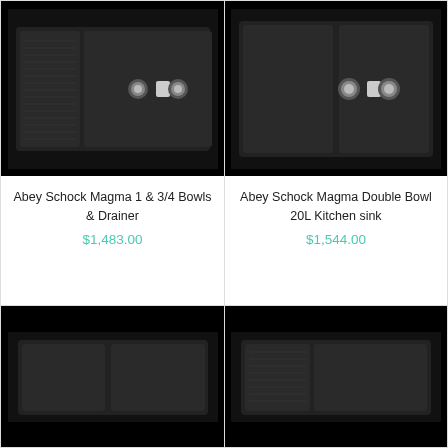[Figure (photo): Abey Schock Magma 1 & 3/4 Bowls & Drainer kitchen sink, dark grey/black composite, viewed from above, with two tap holes]
Abey Schock Magma 1 & 3/4 Bowls & Drainer
$1,483.00
[Figure (photo): Abey Schock Magma Double Bowl 20L Kitchen sink, dark grey/black composite, viewed from above, with two tap holes]
Abey Schock Magma Double Bowl 20L Kitchen sink
$1,544.00
[Figure (photo): Partial view of a dark kitchen sink product, bottom left]
[Figure (photo): Partial view of a dark kitchen sink product, bottom right]